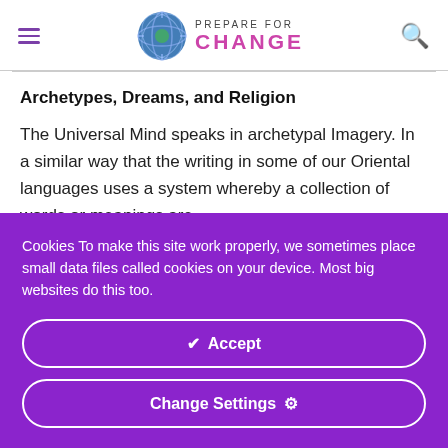PREPARE FOR CHANGE
Archetypes, Dreams, and Religion
The Universal Mind speaks in archetypal Imagery. In a similar way that the writing in some of our Oriental languages uses a system whereby a collection of words or meanings are
Cookies To make this site work properly, we sometimes place small data files called cookies on your device. Most big websites do this too.
✔ Accept
Change Settings ⚙